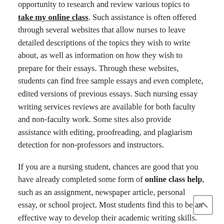opportunity to research and review various topics to take my online class. Such assistance is often offered through several websites that allow nurses to leave detailed descriptions of the topics they wish to write about, as well as information on how they wish to prepare for their essays. Through these websites, students can find free sample essays and even complete, edited versions of previous essays. Such nursing essay writing services reviews are available for both faculty and non-faculty work. Some sites also provide assistance with editing, proofreading, and plagiarism detection for non-professors and instructors.
If you are a nursing student, chances are good that you have already completed some form of online class help, such as an assignment, newspaper article, personal essay, or school project. Most students find this to be an effective way to develop their academic writing skills. Even if you only used essay writing services to prepare for your upcoming assignment, it is still beneficial to have experience using this